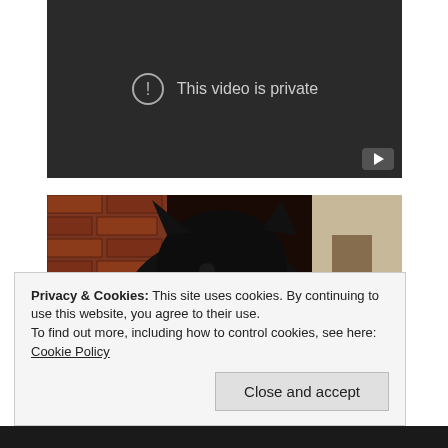[Figure (screenshot): YouTube video embed showing 'This video is private' error message with exclamation icon on dark background]
[Figure (photo): A black fluffy cat photographed indoors near a brick wall]
Privacy & Cookies: This site uses cookies. By continuing to use this website, you agree to their use.
To find out more, including how to control cookies, see here: Cookie Policy
Close and accept